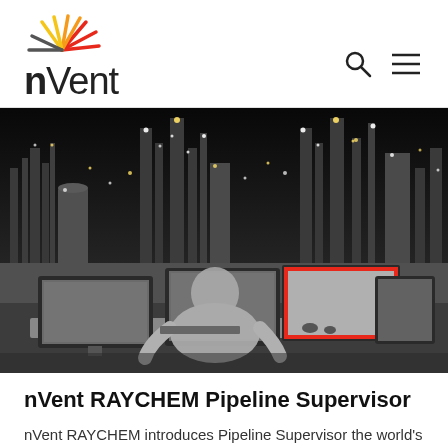nVent
[Figure (photo): Black and white industrial refinery at night with lights, showing a control room operator sitting at a workstation with multiple monitors; one central monitor is highlighted with a red rectangle border.]
nVent RAYCHEM Pipeline Supervisor
nVent RAYCHEM introduces Pipeline Supervisor the world's premier temperature critical pipeline monitoring